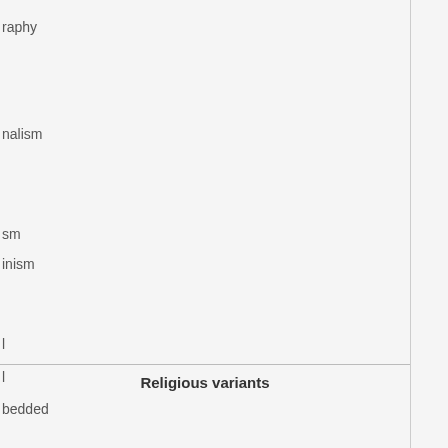raphy
nalism
sm
inism
l
l
bedded
sionary
Religious variants